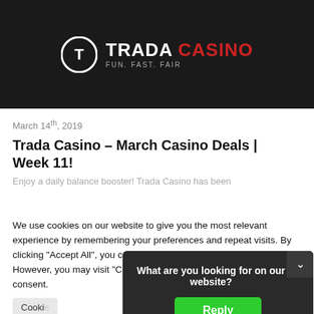[Figure (logo): Trada Casino logo with circular T icon, white TRADA text, red CASINO text, and tagline FUN. FAST. FAIR on dark background]
March 14th, 2019
Trada Casino – March Casino Deals | Week 11!
Enjoy a daily balance booster! Trada Casino has been
We use cookies on our website to give you the most relevant experience by remembering your preferences and repeat visits. By clicking "Accept All", you consent to the use of ALL the cookies. However, you may visit "Cookie Settings" to provide a controlled consent.
Cookie Settings
What are you looking for on our website?
Reply